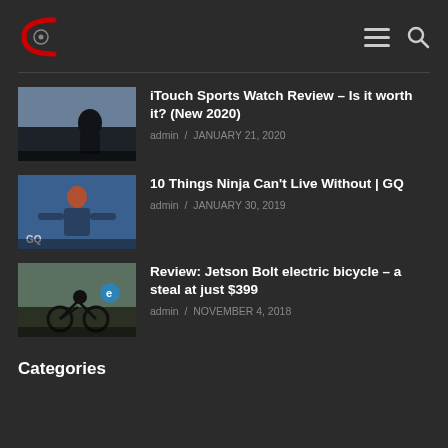Logo / Navigation header
iTouch Sports Watch Review – Is it worth it? (New 2020) | admin / JANUARY 21, 2020
10 Things Ninja Can't Live Without | GQ | admin / JANUARY 30, 2019
Review: Jetson Bolt electric bicycle – a steal at just $399 | admin / NOVEMBER 4, 2018
Categories